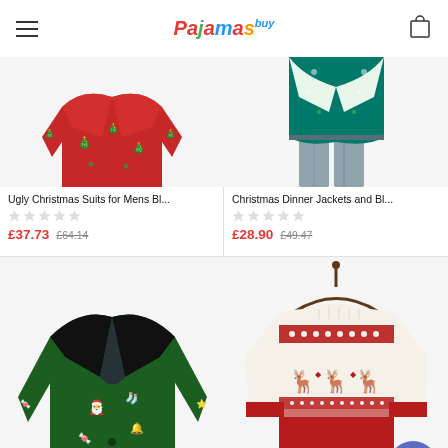BuyPajamas
[Figure (photo): Ugly Christmas suit blazer in red with green Christmas tree pattern]
Ugly Christmas Suits for Mens Bl...
£37.73  £64.14
[Figure (photo): Christmas dinner jacket and blazer, green/teal with holiday pattern, worn with jeans]
Christmas Dinner Jackets and Bl...
£28.90  £49.47
[Figure (photo): Green holiday blazer with Christmas icons pattern (Santa hats, stockings, candy canes, bells)]
[Figure (photo): Nordic style Christmas sweater in cream and red with reindeer pattern on a hanger]